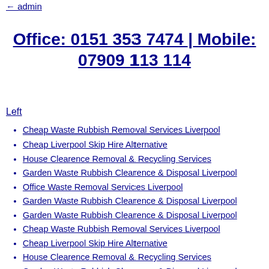← admin
Office: 0151 353 7474 | Mobile: 07909 113 114
Left
Cheap Waste Rubbish Removal Services Liverpool
Cheap Liverpool Skip Hire Alternative
House Clearence Removal & Recycling Services
Garden Waste Rubbish Clearence & Disposal Liverpool
Office Waste Removal Services Liverpool
Garden Waste Rubbish Clearence & Disposal Liverpool
Garden Waste Rubbish Clearence & Disposal Liverpool
Cheap Waste Rubbish Removal Services Liverpool
Cheap Liverpool Skip Hire Alternative
House Clearence Removal & Recycling Services
Garden Waste Rubbish Clearence & Disposal Liverpool
Office Waste Removal Services Liverpool
Garden Waste Rubbish Clearence & Disposal Liverpool
Garden Waste Rubbish Clearence & Disposal Liverpool